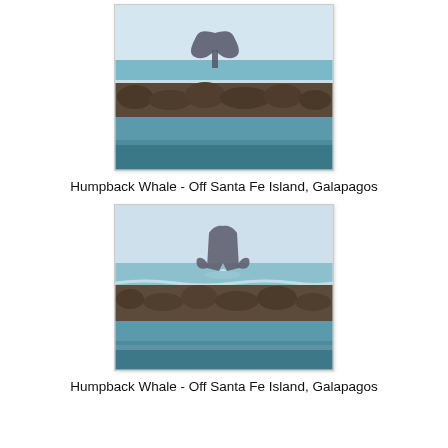[Figure (photo): Humpback whale tail fluke visible above ocean water near a rocky shoreline, off Santa Fe Island, Galapagos]
Humpback Whale - Off Santa Fe Island, Galapagos
[Figure (photo): Humpback whale tail fluke raised vertically out of ocean water near a rocky shoreline, off Santa Fe Island, Galapagos]
Humpback Whale - Off Santa Fe Island, Galapagos